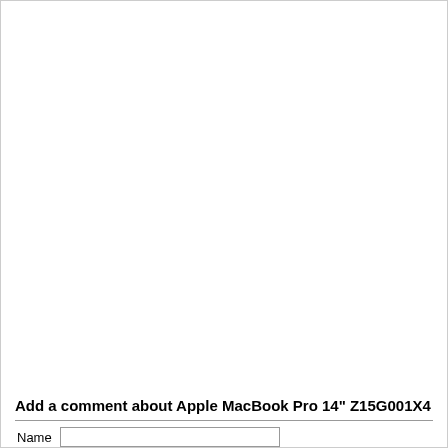Add a comment about Apple MacBook Pro 14" Z15G001X4
Name [input field]